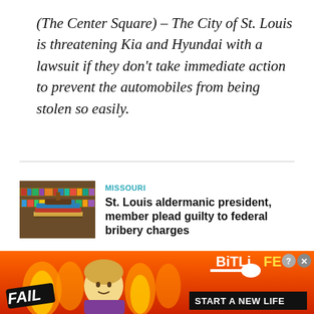(The Center Square) – The City of St. Louis is threatening Kia and Hyundai with a lawsuit if they don't take immediate action to prevent the automobiles from being stolen so easily.
MISSOURI
St. Louis aldermanic president, member plead guilty to federal bribery charges
By Joe Mueller | The Center Square
Aug 26, 2022
(The Center Square) – The former
[Figure (photo): Stack of books with a gavel on top, library setting]
[Figure (illustration): BitLife advertisement banner with fail text, cartoon character, flames, and 'START A NEW LIFE' call to action]